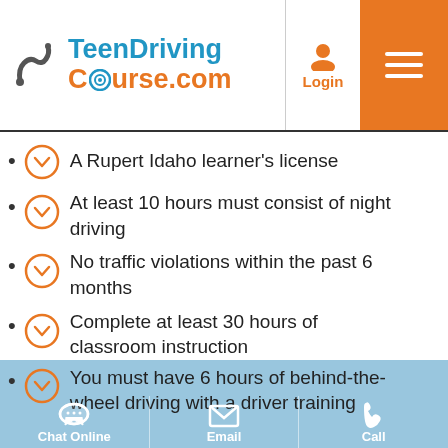TeenDrivingCourse.com
A Rupert Idaho learner's license
At least 10 hours must consist of night driving
No traffic violations within the past 6 months
Complete at least 30 hours of classroom instruction
You must have 6 hours of behind-the-wheel driving with a driver training
Chat Online | Email | Call